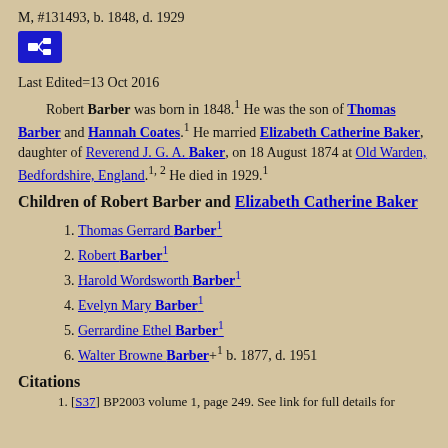M, #131493, b. 1848, d. 1929
[Figure (other): Blue icon button with family tree/hierarchy symbol]
Last Edited=13 Oct 2016
Robert Barber was born in 1848.[1] He was the son of Thomas Barber and Hannah Coates.[1] He married Elizabeth Catherine Baker, daughter of Reverend J. G. A. Baker, on 18 August 1874 at Old Warden, Bedfordshire, England.[1,2] He died in 1929.[1]
Children of Robert Barber and Elizabeth Catherine Baker
1. Thomas Gerrard Barber[1]
2. Robert Barber[1]
3. Harold Wordsworth Barber[1]
4. Evelyn Mary Barber[1]
5. Gerrardine Ethel Barber[1]
6. Walter Browne Barber+[1] b. 1877, d. 1951
Citations
1. [S37] BP2003 volume 1, page 249. See link for full details for